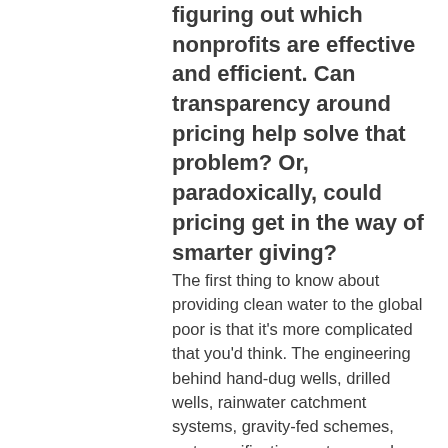figuring out which nonprofits are effective and efficient. Can transparency around pricing help solve that problem? Or, paradoxically, could pricing get in the way of smarter giving?
The first thing to know about providing clean water to the global poor is that it's more complicated that you'd think. The engineering behind hand-dug wells, drilled wells, rainwater catchment systems, gravity-fed schemes, water purification systems and latrines is relatively straightforward. But complexities arise because every